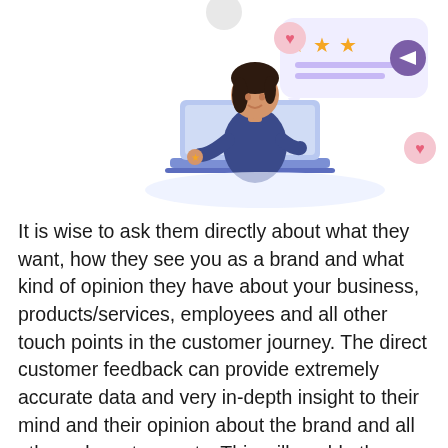[Figure (illustration): A woman sitting at a laptop with star ratings and social media interaction icons (hearts, send button) floating around her, depicting customer feedback or review activity.]
It is wise to ask them directly about what they want, how they see you as a brand and what kind of opinion they have about your business, products/services, employees and all other touch points in the customer journey. The direct customer feedback can provide extremely accurate data and very in-depth insight to their mind and their opinion about the brand and all other relevant aspects. This will enable the businesses to lay down polices, make adjustments, plan for improvements and invest resources wisely to improve both the efficiency of the business as well as the customer satisfaction. Which is a guarantee to a long term success and growth. In this blog we will discuss